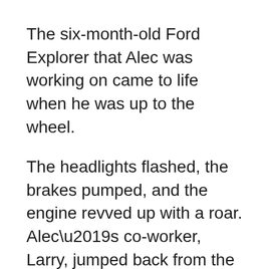The six-month-old Ford Explorer that Alec was working on came to life when he was up to the wheel.
The headlights flashed, the brakes pumped, and the engine revved up with a roar. Alec’s co-worker, Larry, jumped back from the wheel and laughed, “Did you see that?”
Alec looked at him, his arms crossed